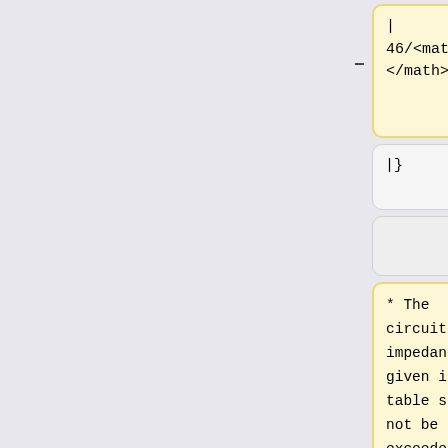| 46/<math>I_n</math></math>
|46/<math>I_n</math></math>
|}
|}
(empty)
(empty)
* The circuit loop impedances given in the table should not be exceeded when the conductors are at their operating temperature. If the conductors
*The circuit loop impedances given in the table should not be exceeded when the conductors are at their operating temperature. If the conductors